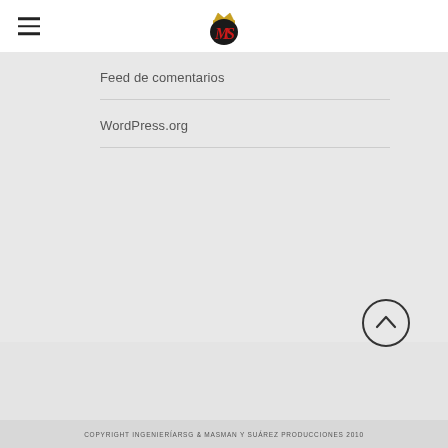[Figure (logo): MS crown logo with red M and S letters and gold crown]
Feed de comentarios
WordPress.org
[Figure (illustration): Circle with upward chevron arrow (scroll to top button)]
COPYRIGHT INGENIERÍARSG & MASMAN Y SUÁREZ PRODUCCIONES 2010